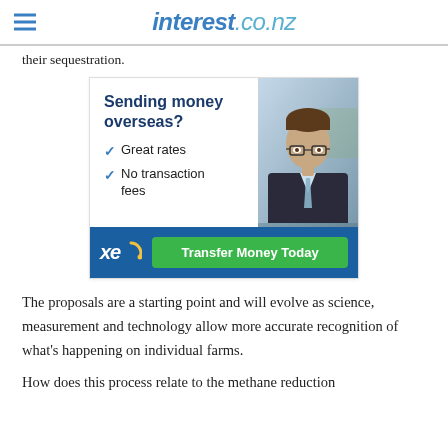interest.co.nz
their sequestration.
[Figure (infographic): XE currency transfer advertisement. Heading: Sending money overseas? Checkmarks: Great rates, No transaction fees. XE logo and green button: Transfer Money Today. Features photo of a businessman in suit with glasses.]
The proposals are a starting point and will evolve as science, measurement and technology allow more accurate recognition of what’s happening on individual farms.
How does this process relate to the methane reduction